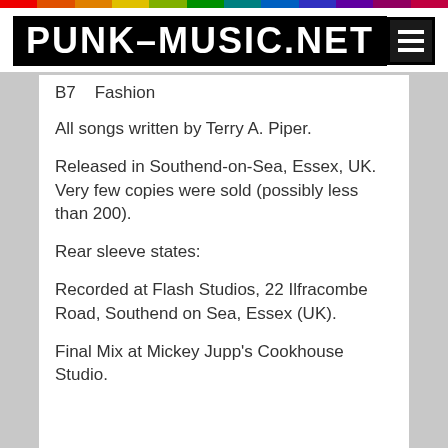PUNK-MUSIC.NET
B7    Fashion
All songs written by Terry A. Piper.
Released in Southend-on-Sea, Essex, UK. Very few copies were sold (possibly less than 200).
Rear sleeve states:
Recorded at Flash Studios, 22 Ilfracombe Road, Southend on Sea, Essex (UK).
Final Mix at Mickey Jupp's Cookhouse Studio.